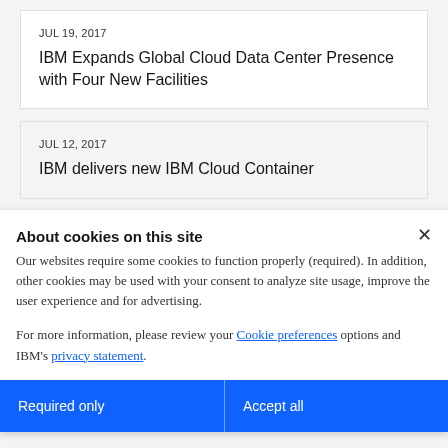JUL 19, 2017
IBM Expands Global Cloud Data Center Presence with Four New Facilities
JUL 12, 2017
IBM delivers new IBM Cloud Container
About cookies on this site
Our websites require some cookies to function properly (required). In addition, other cookies may be used with your consent to analyze site usage, improve the user experience and for advertising.
For more information, please review your Cookie preferences options and IBM's privacy statement.
Required only
Accept all